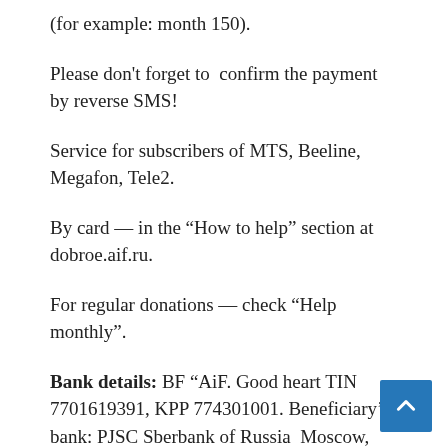(for example: month 150).
Please don't forget to confirm the payment by reverse SMS!
Service for subscribers of MTS, Beeline, Megafon, Tele2.
By card — in the “How to help” section at dobroe.aif.ru.
For regular donations — check “Help monthly”.
Bank details: BF “AiF. Good heart TIN 7701619391, KPP 774301001. Beneficiary’s bank: PJSC Sberbank of Russia  Moscow, BIK